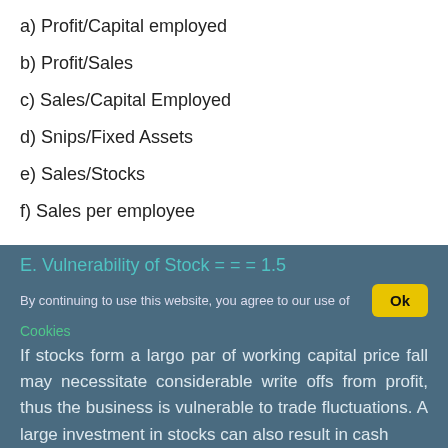a) Profit/Capital employed
b) Profit/Sales
c) Sales/Capital Employed
d) Snips/Fixed Assets
e) Sales/Stocks
f) Sales per employee
E. Vulnerability of Stock = = = 1.5
By continuing to use this website, you agree to our use of Cookies
If stocks form a largo par of working capital price fall may necessitate considerable write offs from profit, thus the business is vulnerable to trade fluctuations. A large investment in stocks can also result in cash